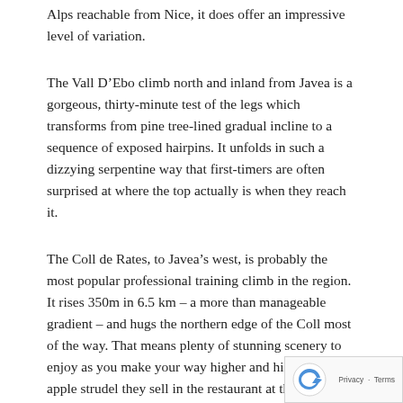Alps reachable from Nice, it does offer an impressive level of variation.
The Vall D'Ebo climb north and inland from Javea is a gorgeous, thirty-minute test of the legs which transforms from pine tree-lined gradual incline to a sequence of exposed hairpins. It unfolds in such a dizzying serpentine way that first-timers are often surprised at where the top actually is when they reach it.
The Coll de Rates, to Javea's west, is probably the most popular professional training climb in the region. It rises 350m in 6.5 km – a more than manageable gradient – and hugs the northern edge of the Coll most of the way. That means plenty of stunning scenery to enjoy as you make your way higher and higher. The apple strudel they sell in the restaurant at the top is pure dynamite (if it's open!).
For the Vuelta a España obsessives, the Cumbre del So a must. It's a mere 20 minutes from the centre of Javea